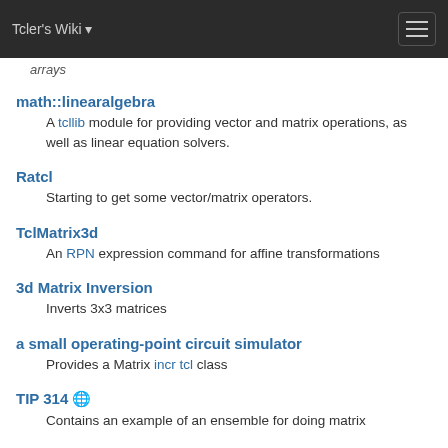Tcler's Wiki
arrays
math::linearalgebra
A tcllib module for providing vector and matrix operations, as well as linear equation solvers.
Ratcl
Starting to get some vector/matrix operators.
TclMatrix3d
An RPN expression command for affine transformations
3d Matrix Inversion
Inverts 3x3 matrices
a small operating-point circuit simulator
Provides a Matrix incr tcl class
TIP 314 🌐
Contains an example of an ensemble for doing matrix